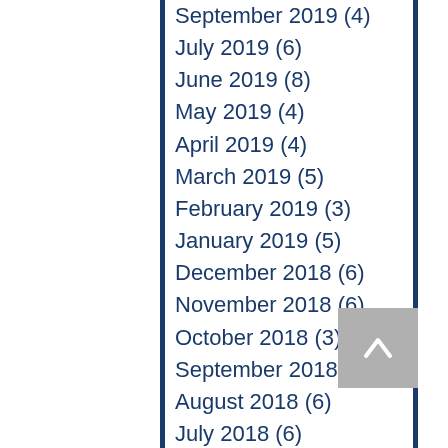September 2019 (4)
July 2019 (6)
June 2019 (8)
May 2019 (4)
April 2019 (4)
March 2019 (5)
February 2019 (3)
January 2019 (5)
December 2018 (6)
November 2018 (6)
October 2018 (3)
September 2018 (2)
August 2018 (6)
July 2018 (6)
June 2018 (6)
May 2018 (5)
April 2018 (6)
March 2018 (9)
February 2018 (4)